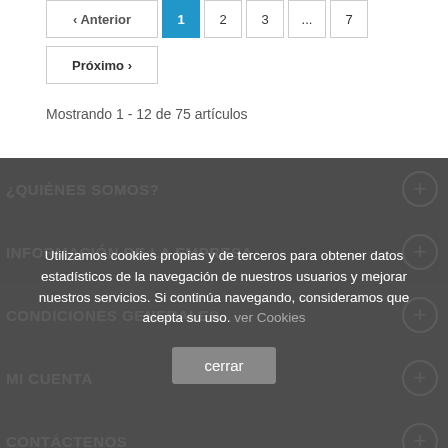‹ Anterior  1  2  3  ...  7
Próximo ›
Mostrando 1 - 12 de 75 artículos
¿QUIÉNES SOMOS?
INFORMACIÓN DE LA EMPRESA
CONDICIONES GENERALES
MI CUENTA
CONTÁCTENOS
Utilizamos cookies propias y de terceros para obtener datos estadísticos de la navegación de nuestros usuarios y mejorar nuestros servicios. Si continúa navegando, consideramos que acepta su uso. ver Cookies
cerrar